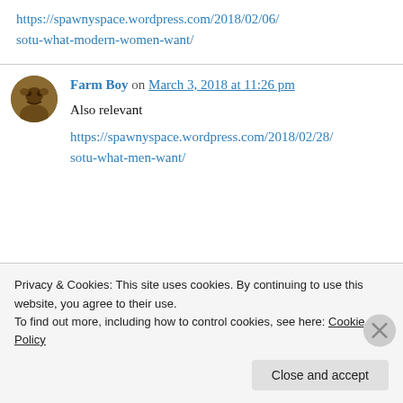https://spawnyspace.wordpress.com/2018/02/06/sotu-what-modern-women-want/
Farm Boy on March 3, 2018 at 11:26 pm
Also relevant
https://spawnyspace.wordpress.com/2018/02/28/sotu-what-men-want/
Privacy & Cookies: This site uses cookies. By continuing to use this website, you agree to their use. To find out more, including how to control cookies, see here: Cookie Policy